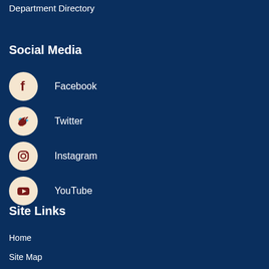Department Directory
Social Media
Facebook
Twitter
Instagram
YouTube
Site Links
Home
Site Map
Contact Us